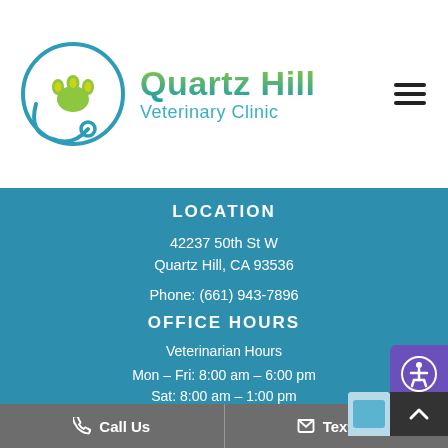[Figure (logo): Quartz Hill Veterinary Clinic logo with paw print and stethoscope circle]
Quartz Hill Veterinary Clinic
LOCATION
42237 50th St W
Quartz Hill, CA 93536
Phone: (661) 943-7896
OFFICE HOURS
Veterinarian Hours
Mon – Fri: 8:00 am – 6:00 pm
Sat: 8:00 am – 1:00 pm
Sun: Closed
Vaccination Hours
📞 Call Us   ✉ Text Us